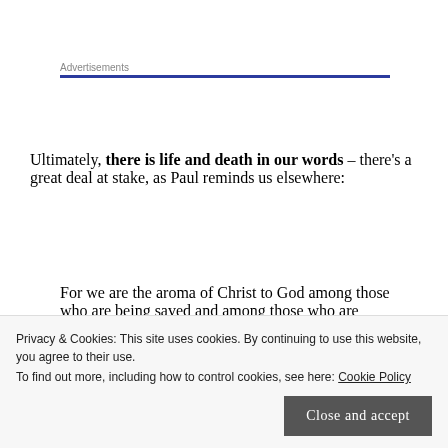Advertisements
Ultimately, there is life and death in our words – there's a great deal at stake, as Paul reminds us elsewhere:
For we are the aroma of Christ to God among those who are being saved and among those who are perishing, [16] to one a fragrance from
Privacy & Cookies: This site uses cookies. By continuing to use this website, you agree to their use.
To find out more, including how to control cookies, see here: Cookie Policy
Close and accept